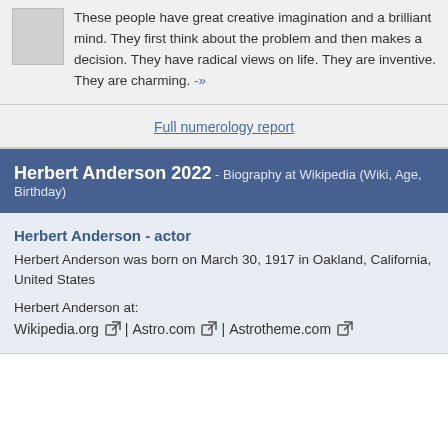These people have great creative imagination and a brilliant mind. They first think about the problem and then makes a decision. They have radical views on life. They are inventive. They are charming. -»
Full numerology report
Herbert Anderson 2022 - Biography at Wikipedia (Wiki, Age, Birthday)
Herbert Anderson - actor
Herbert Anderson was born on March 30, 1917 in Oakland, California, United States
Herbert Anderson at:
Wikipedia.org | Astro.com | Astrotheme.com